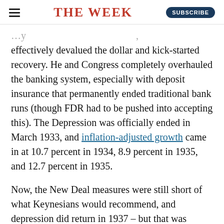THE WEEK
effectively devalued the dollar and kick-started recovery. He and Congress completely overhauled the banking system, especially with deposit insurance that permanently ended traditional bank runs (though FDR had to be pushed into accepting this). The Depression was officially ended in March 1933, and inflation-adjusted growth came in at 10.7 percent in 1934, 8.9 percent in 1935, and 12.7 percent in 1935.
Now, the New Deal measures were still short of what Keynesians would recommend, and depression did return in 1937 – but that was because Roosevelt got